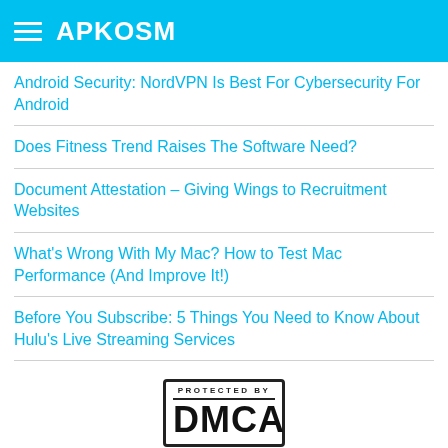APKOSM
Android Security: NordVPN Is Best For Cybersecurity For Android
Does Fitness Trend Raises The Software Need?
Document Attestation – Giving Wings to Recruitment Websites
What's Wrong With My Mac? How to Test Mac Performance (And Improve It!)
Before You Subscribe: 5 Things You Need to Know About Hulu's Live Streaming Services
[Figure (logo): PROTECTED BY DMCA badge/logo with black border and text]